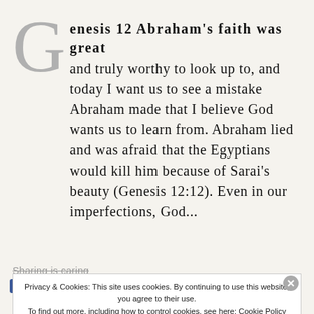Genesis 12 Abraham's faith was great and truly worthy to look up to, and today I want us to see a mistake Abraham made that I believe God wants us to learn from. Abraham lied and was afraid that the Egyptians would kill him because of Sarai's beauty (Genesis 12:12). Even in our imperfections, God...
Sharing is caring
Privacy & Cookies: This site uses cookies. By continuing to use this website, you agree to their use. To find out more, including how to control cookies, see here: Cookie Policy
Close and accept